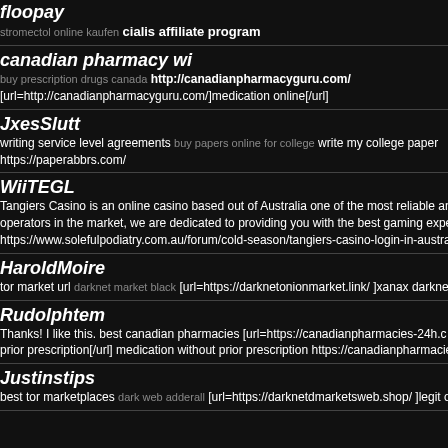floopay
stromectol online kaufen cialis affiliate program
canadian pharmacy wi
buy prescription drugs canada http://canadianpharmacyguru.com/ [url=http://canadianpharmacyguru.com/]medication online[/url]
JxesSlutt
writing service level agreements buy papers online for college write my college paper https://paperabbrs.com/
WiiTEGL
Tangiers Casino is an online casino based out of Australia one of the most reliable an operators in the market, we are dedicated to providing you with the best gaming expe https://www.solefulpodiatry.com.au/forum/cold-season/tangiers-casino-login-in-austra
HaroldMoire
tor market url darknet market black [url=https://darknetonionmarket.link/ ]xanax darknet m
Rudolphtem
Thanks! I like this. best canadian pharmacies [url=https://canadianpharmacies-24h.c prior prescription[/url] medication without prior prescription https://canadianpharmacie
Justinstips
best tor marketplaces dark web adderall [url=https://darknetdmarketsweb.shop/ ]legit on